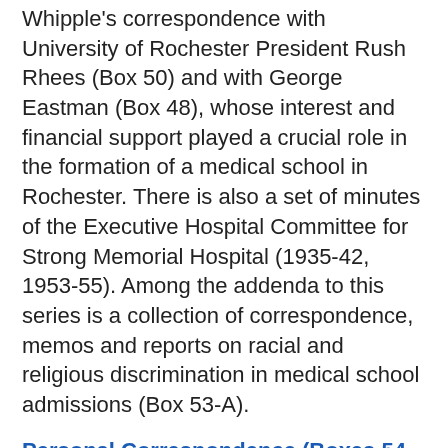Whipple's correspondence with University of Rochester President Rush Rhees (Box 50) and with George Eastman (Box 48), whose interest and financial support played a crucial role in the formation of a medical school in Rochester. There is also a set of minutes of the Executive Hospital Committee for Strong Memorial Hospital (1935-42, 1953-55). Among the addenda to this series is a collection of correspondence, memos and reports on racial and religious discrimination in medical school admissions (Box 53-A).
Personal Correspondence (Boxes 54-72)
Whipple's personal correspondence comprises casual exchanges with colleagues and friends. However, topics are often brought up that pertain to professional matters. This correspondence is well worth examining, therefore, for casual asides on